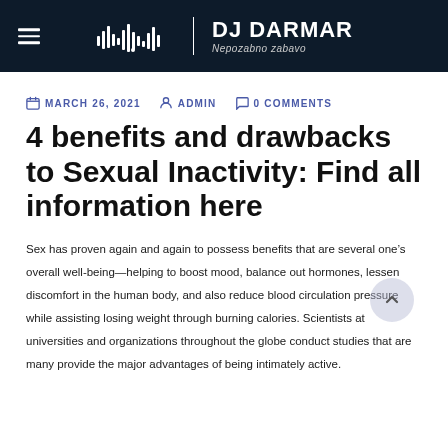DJ DARMAR — Nepozabno zabavo
MARCH 26, 2021   ADMIN   0 COMMENTS
4 benefits and drawbacks to Sexual Inactivity: Find all information here
Sex has proven again and again to possess benefits that are several one's overall well-being—helping to boost mood, balance out hormones, lessen discomfort in the human body, and also reduce blood circulation pressure while assisting losing weight through burning calories. Scientists at universities and organizations throughout the globe conduct studies that are many provide the major advantages of being intimately active.